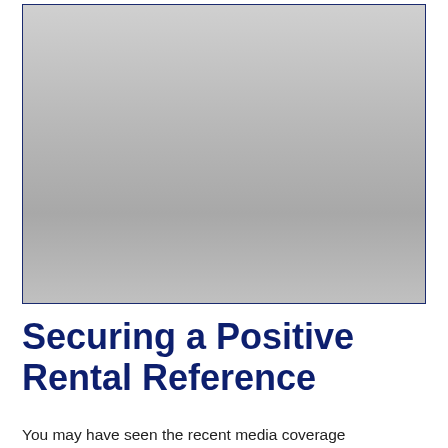[Figure (photo): Large grey/silver toned image placeholder occupying the upper portion of the page, bordered in dark navy blue.]
Securing a Positive Rental Reference
You may have seen the recent media coverage